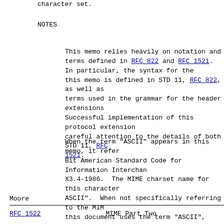character set.
NOTES
This memo relies heavily on notation and terms defined in RFC 822 and RFC 1521. In particular, the syntax for the header extensions defined in this memo is defined in STD 11, RFC 822, as well as some of the terms used in the grammar for the header extensions defined here. Successful implementation of this protocol extension will require careful attention to the details of both STD 11, RFC 822, and RFC 1521.
When the term "ASCII" appears in this memo, it refers to the 7-Bit American Standard Code for Information Interchange, ANSI X3.4-1986. The MIME charset name for this character set is "US-ASCII". When not specifically referring to the MIME charset name, this document uses the term "ASCII", both for brevity and for consistency with STD 11, RFC 822. However, implementors are warned that the character set name must be spelled "US-ASCII" in MIME message and body part headers.
Moore
RFC 1522                    MIME Part Two
consistency with STD 11, RFC 822. However, implementors are warned that the character set name must be spelled "US-ASCII" in MIME message and body part headers.